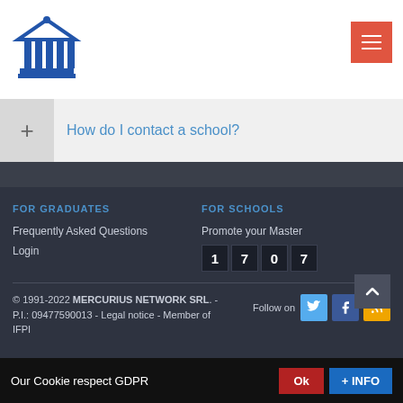[Figure (logo): Blue building/institution icon (columns and pediment)]
[Figure (other): Red hamburger menu button with three horizontal white lines]
+ How do I contact a school?
FOR GRADUATES
FOR SCHOOLS
Frequently Asked Questions
Promote your Master
Login
1 7 0 7
© 1991-2022 MERCURIUS NETWORK SRL. - P.I.: 09477590013 - Legal notice - Member of IFPI
Follow on
Our Cookie respect GDPR